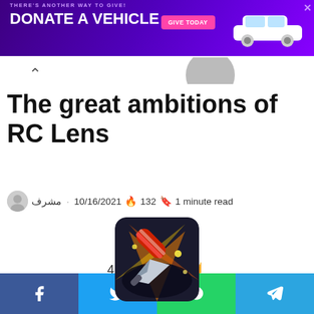[Figure (screenshot): Purple advertisement banner: 'THERE'S ANOTHER WAY TO GIVE! DONATE A VEHICLE' with a pink button 'GIVE TODAY' and white car image on right, X close button top right]
The great ambitions of RC Lens
مشرف · 10/16/2021 🔥 132 🔖 1 minute read
[Figure (illustration): Knife Hit game icon: dark background with knife and colorful log/cylinder graphic]
Knife Hit
4.5 ★★★★½
[Figure (infographic): Social share bar at bottom with Facebook, Twitter, WhatsApp, and Telegram buttons]